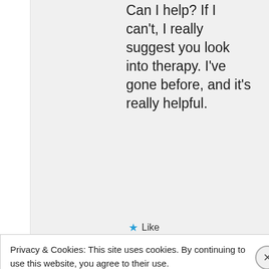Can I help? If I can't, I really suggest you look into therapy. I've gone before, and it's really helpful.
★ Like
👍 9 👎 3 ℹ️
Privacy & Cookies: This site uses cookies. By continuing to use this website, you agree to their use. To find out more, including how to control cookies, see here: Cookie Policy
Close and accept